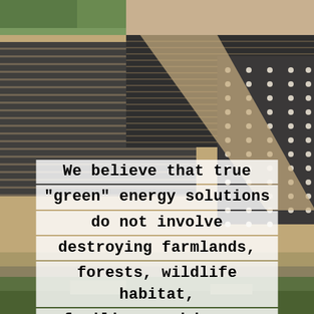[Figure (photo): Aerial photograph of a large utility-scale solar farm with rows of solar panels covering vast flat land, surrounded by sandy soil and some distant tree line and fields. The image is taken from above at an oblique angle showing the scale of the installation.]
We believe that true “green” energy solutions do not involve destroying farmlands, forests, wildlife habitat, families, and homes.